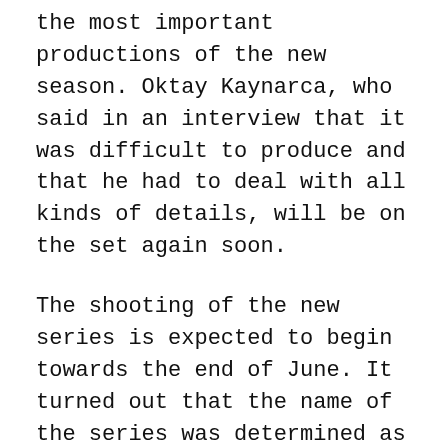the most important productions of the new season. Oktay Kaynarca, who said in an interview that it was difficult to produce and that he had to deal with all kinds of details, will be on the set again soon.
The shooting of the new series is expected to begin towards the end of June. It turned out that the name of the series was determined as “Ben Bu Cihana Sığmazsam” (If I don’t fit in this world).